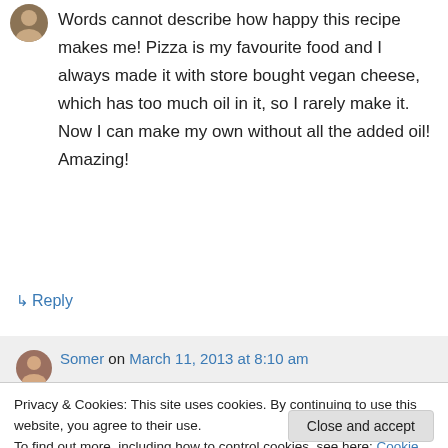Words cannot describe how happy this recipe makes me! Pizza is my favourite food and I always made it with store bought vegan cheese, which has too much oil in it, so I rarely make it. Now I can make my own without all the added oil! Amazing!
↳ Reply
Somer on March 11, 2013 at 8:10 am
Privacy & Cookies: This site uses cookies. By continuing to use this website, you agree to their use.
To find out more, including how to control cookies, see here: Cookie Policy
Close and accept
😐 ENJOY! 😐